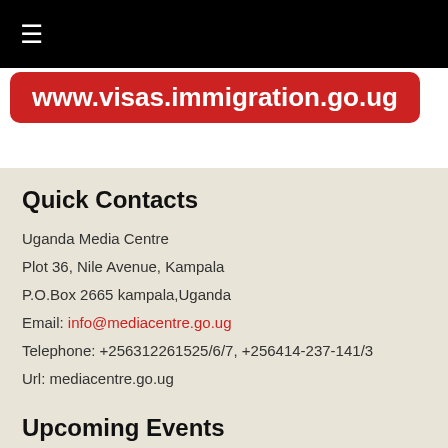≡
www.visas.immigration.go.ug
Quick Contacts
Uganda Media Centre
Plot 36, Nile Avenue, Kampala
P.O.Box 2665 kampala,Uganda
Email: info@mediacentre.go.ug
Telephone: +256312261525/6/7, +256414-237-141/3
Url: mediacentre.go.ug
Upcoming Events
26 Jan
NRM/A VICTORY DAY CELEBRATION
REFER TO THE ATTACHED...